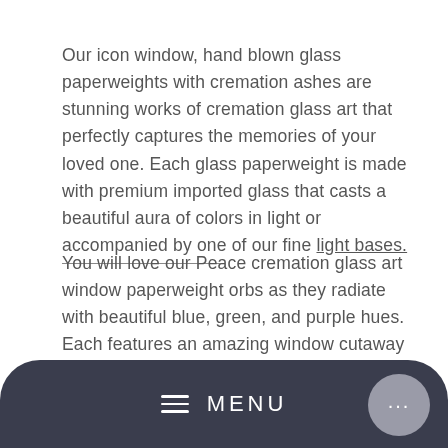Our icon window, hand blown glass paperweights with cremation ashes are stunning works of cremation glass art that perfectly captures the memories of your loved one. Each glass paperweight is made with premium imported glass that casts a beautiful aura of colors in light or accompanied by one of our fine light bases.
You will love our Peace cremation glass art window paperweight orbs as they radiate with beautiful blue, green, and purple hues. Each features an amazing window cutaway that allows you to see right into the heart of our glass artisan's vision for each unique design.
Celebration Ashes window glass paperweights will find a fitting home on besides a sunny window, warm mantle, or in a magnificent family library. Even better, you can
MENU